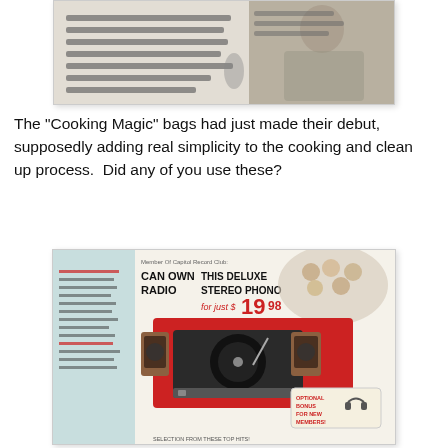[Figure (photo): Vintage scanned advertisement for Cooking Magic oven bags, showing a woman and product text about cooking with bags.]
The "Cooking Magic" bags had just made their debut, supposedly adding real simplicity to the cooking and clean up process.  Did any of you use these?
[Figure (photo): Vintage scanned magazine advertisement for a Columbia Record Club Deluxe Stereo Phono turntable for just $19.98, showing the record player with two speakers and a group of young people.]